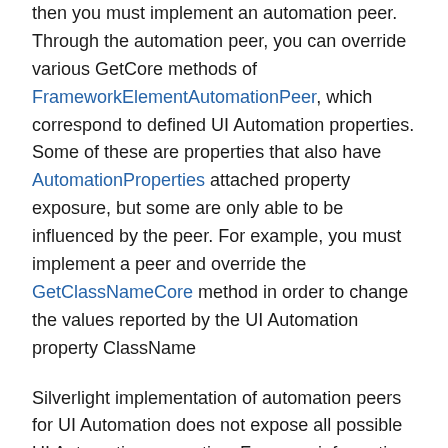then you must implement an automation peer. Through the automation peer, you can override various GetCore methods of FrameworkElementAutomationPeer, which correspond to defined UI Automation properties. Some of these are properties that also have AutomationProperties attached property exposure, but some are only able to be influenced by the peer. For example, you must implement a peer and override the GetClassNameCore method in order to change the values reported by the UI Automation property ClassName
Silverlight implementation of automation peers for UI Automation does not expose all possible UI Automation properties. For more information about the UI Automation properties that are exposed, see FrameworkElementAutomationPeer.
See Also